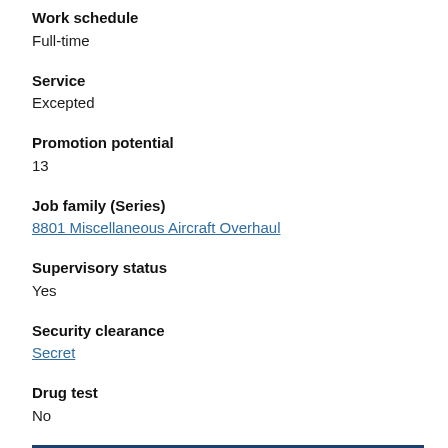Work schedule
Full-time
Service
Excepted
Promotion potential
13
Job family (Series)
8801 Miscellaneous Aircraft Overhaul
Supervisory status
Yes
Security clearance
Secret
Drug test
No